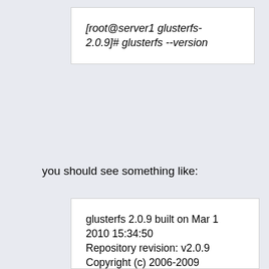[root@server1 glusterfs-2.0.9]# glusterfs --version
you should see something like:
glusterfs 2.0.9 built on Mar 1 2010 15:34:50
Repository revision: v2.0.9
Copyright (c) 2006-2009 Gluster Inc.
<http://www.gluster.com>
GlusterFS comes with ABSOLUTELY NO WARRANTY.
You may redistribute copies of GlusterFS under the terms of the GNU General